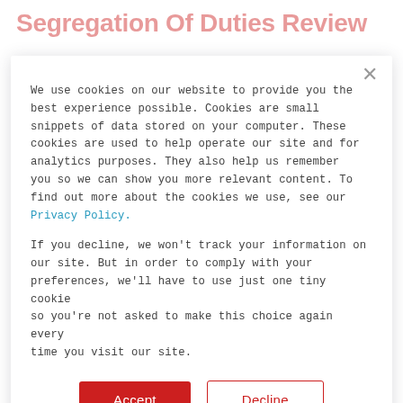Segregation Of Duties Review
Segregation of Duties (SoD), or the practice of separating the access needed to perform a business process between multiple
We use cookies on our website to provide you the best experience possible. Cookies are small snippets of data stored on your computer. These cookies are used to help operate our site and for analytics purposes. They also help us remember you so we can show you more relevant content. To find out more about the cookies we use, see our Privacy Policy.
If you decline, we won't track your information on our site. But in order to comply with your preferences, we'll have to use just one tiny cookie so you're not asked to make this choice again every time you visit our site.
Accept
Decline